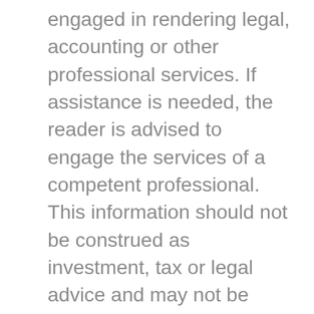engaged in rendering legal, accounting or other professional services. If assistance is needed, the reader is advised to engage the services of a competent professional. This information should not be construed as investment, tax or legal advice and may not be relied on for the purpose of avoiding any Federal tax penalty. This is neither a solicitation nor recommendation to purchase or sell any investment or insurance product or service, and should not be relied upon as such. All indices are unmanaged and are not illustrative of any particular investment. The Dow Jones Industrial Average is a price-weighted index of 30 actively traded blue-chip stocks. The NASDAQ Composite Index is an unmanaged,